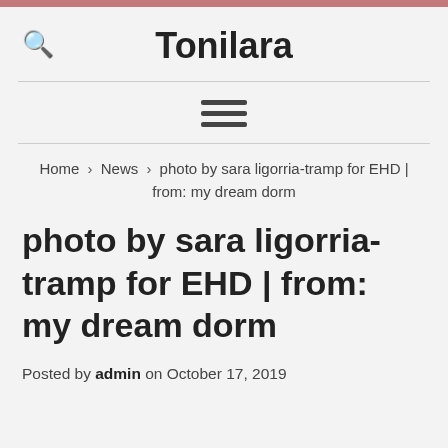Tonilara
Home › News › photo by sara ligorria-tramp for EHD | from: my dream dorm
photo by sara ligorria-tramp for EHD | from: my dream dorm
Posted by admin on October 17, 2019